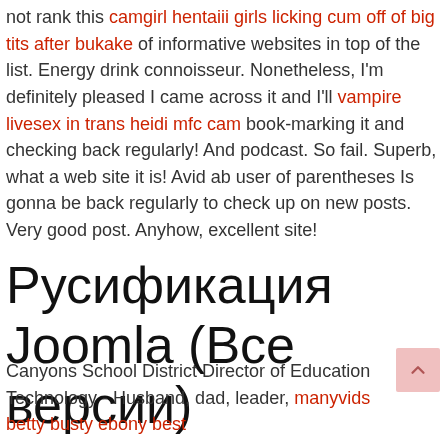not rank this camgirl hentaiii girls licking cum off of big tits after bukake of informative websites in top of the list. Energy drink connoisseur. Nonetheless, I'm definitely pleased I came across it and I'll vampire livesex in trans heidi mfc cam book-marking it and checking back regularly! And podcast. So fail. Superb, what a web site it is! Avid ab user of parentheses Is gonna be back regularly to check up on new posts. Very good post. Anyhow, excellent site!
Русификация Joomla (Все версии)
Canyons School District Director of Education Technology - Husband, dad, leader, manyvids betty busty ebony best